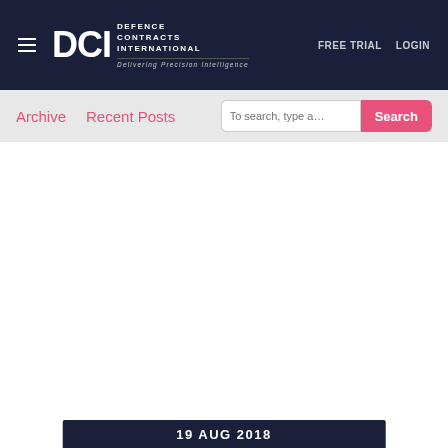DCI DEFENCE CONTRACTS INTERNATIONAL — Delivering Precision Intelligence — FREE TRIAL   LOGIN
Archive   Recent Posts
To search, type a   Search
19 AUG 2018